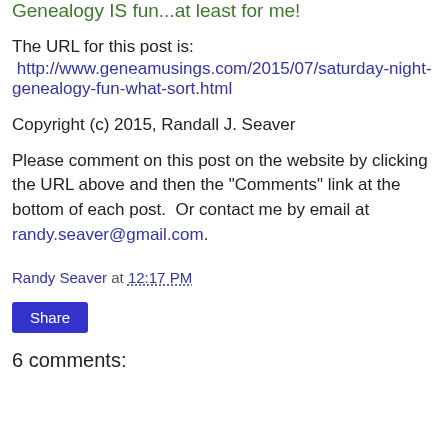Genealogy IS fun...at least for me!
The URL for this post is:
http://www.geneamusings.com/2015/07/saturday-night-genealogy-fun-what-sort.html
Copyright (c) 2015, Randall J. Seaver
Please comment on this post on the website by clicking the URL above and then the "Comments" link at the bottom of each post.  Or contact me by email at randy.seaver@gmail.com.
Randy Seaver at 12:17 PM
Share
6 comments: